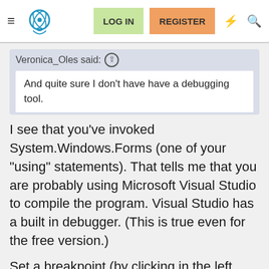LOG IN  REGISTER
Veronica_Oles said: ↑
And quite sure I don't have have a debugging tool.
I see that you've invoked System.Windows.Forms (one of your "using" statements). That tells me that you are probably using Microsoft Visual Studio to compile the program. Visual Studio has a built in debugger. (This is true even for the free version.)
Set a breakpoint (by clicking in the left margin) in your code in a place where you want to start